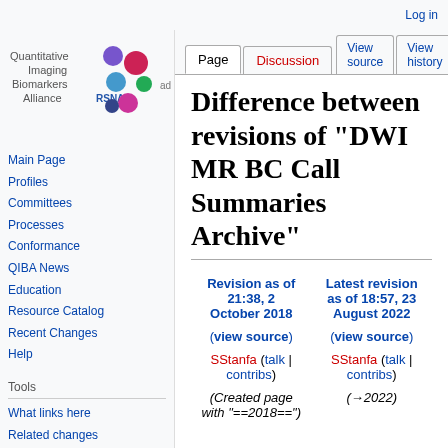Log in
[Figure (logo): Quantitative Imaging Biomarkers Alliance (QIBA) logo with RSNA branding and colorful dots]
Main Page
Profiles
Committees
Processes
Conformance
QIBA News
Education
Resource Catalog
Recent Changes
Help
Tools
What links here
Related changes
Difference between revisions of "DWI MR BC Call Summaries Archive"
| Revision as of 21:38, 2 October 2018 | Latest revision as of 18:57, 23 August 2022 |
| --- | --- |
| (view source) | (view source) |
| SStanfa (talk | contribs) | SStanfa (talk | contribs) |
| (Created page with "==2018==") | (→2022) |